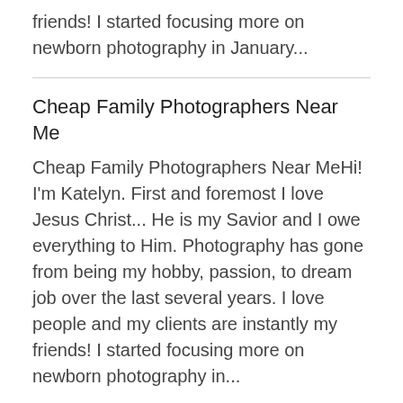friends! I started focusing more on newborn photography in January...
Cheap Family Photographers Near Me
Cheap Family Photographers Near MeHi! I'm Katelyn. First and foremost I love Jesus Christ... He is my Savior and I owe everything to Him. Photography has gone from being my hobby, passion, to dream job over the last several years. I love people and my clients are instantly my friends! I started focusing more on newborn photography in...
Newborn Photography Prices
Newborn Photography PricesHi! I'm Katelyn. First and foremost I love Jesus Christ...He is my Savior